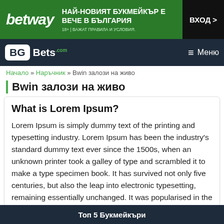[Figure (screenshot): Betway advertisement banner with green background, Betway logo, text 'НАЙ-НОВИЯТ БУКМЕЙКЪР Е ВЕЧЕ В БЪЛГАРИЯ', entry button 'ВХОД >', and disclaimer '18+ | ВАЖАТ ПРАВИЛА И УСЛОВИЯ.']
BG Bets.com  Меню
Начало » Наръчник » Bwin залози на живо
Bwin залози на живо
What is Lorem Ipsum?
Lorem Ipsum is simply dummy text of the printing and typesetting industry. Lorem Ipsum has been the industry's standard dummy text ever since the 1500s, when an unknown printer took a galley of type and scrambled it to make a type specimen book. It has survived not only five centuries, but also the leap into electronic typesetting, remaining essentially unchanged. It was popularised in the 1960s with the release of Letraset sheets containing Lorem
Топ 5 Букмейкъри